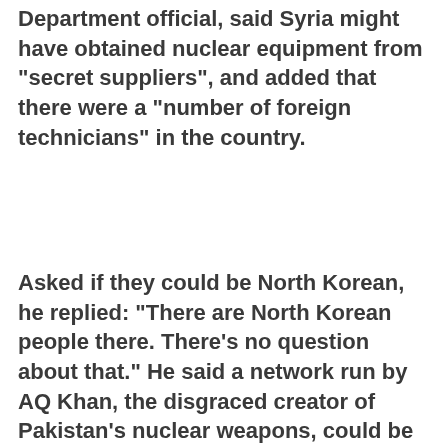Department official, said Syria might have obtained nuclear equipment from "secret suppliers", and added that there were a "number of foreign technicians" in the country.
Asked if they could be North Korean, he replied: "There are North Korean people there. There's no question about that." He said a network run by AQ Khan, the disgraced creator of Pakistan's nuclear weapons, could be involved.
But why would nuclear material be in Syria? Known to have chemical weapons, was it seeking to bolster its arsenal with something even more deadly?
Alternatively, could it be hiding equipment for North Korea, enabling Kim Jong-il to pretend to be giving up his nuclear programme in exchange for economic aid? Or was the